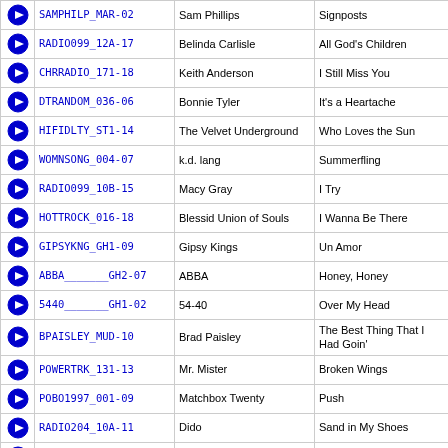|  | Code | Artist | Title |
| --- | --- | --- | --- |
| ▶ | SAMPHILP_MAR-02 | Sam Phillips | Signposts |
| ▶ | RADIO099_12A-17 | Belinda Carlisle | All God's Children |
| ▶ | CHRRADIO_171-18 | Keith Anderson | I Still Miss You |
| ▶ | DTRANDOM_036-06 | Bonnie Tyler | It's a Heartache |
| ▶ | HIFIDLTY_ST1-14 | The Velvet Underground | Who Loves the Sun |
| ▶ | WOMNSONG_004-07 | k.d. lang | Summerfling |
| ▶ | RADIO099_10B-15 | Macy Gray | I Try |
| ▶ | HOTTROCK_016-18 | Blessid Union of Souls | I Wanna Be There |
| ▶ | GIPSYKNG_GH1-09 | Gipsy Kings | Un Amor |
| ▶ | ABBA_______GH2-07 | ABBA | Honey, Honey |
| ▶ | 5440_______GH1-02 | 54-40 | Over My Head |
| ▶ | BPAISLEY_MUD-10 | Brad Paisley | The Best Thing That I Had Goin' |
| ▶ | POWERTRK_131-13 | Mr. Mister | Broken Wings |
| ▶ | POBO1997_001-09 | Matchbox Twenty | Push |
| ▶ | RADIO204_10A-11 | Dido | Sand in My Shoes |
| ▶ | BRGHTRCK_TDB-11 | Brighton Rock | Unlease the Rage |
| ▶ | POWERTRK_040-16 | Box Tops | The Letter |
| ▶ | BPAISLEY_MUD-01 | Brad Paisley | Mud on the Tires |
| ▶ | ARNOLD____HIL-12 | Arnold | Mickey's Mother |
| ▶ | CHRRADIO_147-18 | Jason Blaine | Rock in My Boot |
| ▶ | RADIO098_12A-01 | The Beautiful South | Dumb |